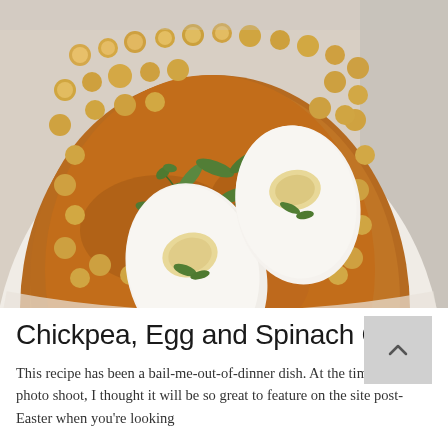[Figure (photo): A white bowl filled with chickpea curry, featuring two halved boiled eggs placed on top, garnished with fresh herbs including cilantro and arugula. The dish shows a rich orange-brown curry sauce with golden chickpeas.]
Chickpea, Egg and Spinach Curry
This recipe has been a bail-me-out-of-dinner dish. At the time of our photo shoot, I thought it will be so great to feature on the site post-Easter when you're looking